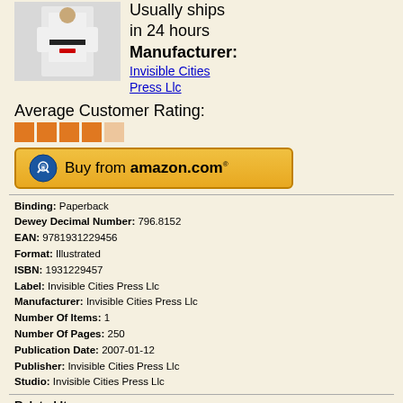[Figure (photo): Photo of a martial artist in white gi with black belt]
Usually ships in 24 hours
Manufacturer:
Invisible Cities Press Llc
Average Customer Rating:
[Figure (other): 4-star rating shown as orange squares]
[Figure (other): Buy from amazon.com button]
Binding: Paperback
Dewey Decimal Number: 796.8152
EAN: 9781931229456
Format: Illustrated
ISBN: 1931229457
Label: Invisible Cities Press Llc
Manufacturer: Invisible Cities Press Llc
Number Of Items: 1
Number Of Pages: 250
Publication Date: 2007-01-12
Publisher: Invisible Cities Press Llc
Studio: Invisible Cities Press Llc
Related Items
Brazilian Jiu-Jitsu: Theory and Technique (Brazilian Jiu-Jitsu series)
Mixed Martial Arts: The Book of Knowledge
Ultimate Fighting Techniques Volume 2: Fighting from the Bottom (Brazilian Jiu-Jitsu series)
Ultimate Fighting Techniques (Brazilian Jiu-Jitsu series) (v. 1)
Gracie Jiu-Jitsu